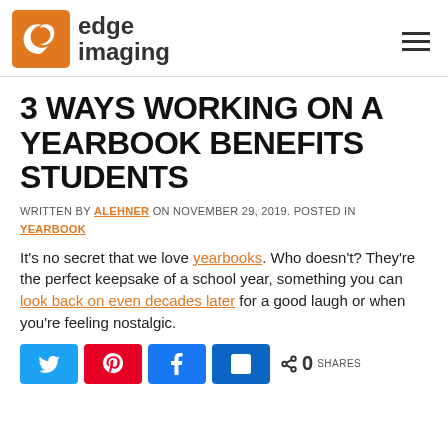edge imaging
3 WAYS WORKING ON A YEARBOOK BENEFITS STUDENTS
WRITTEN BY ALEHNER ON NOVEMBER 29, 2019. POSTED IN YEARBOOK
It's no secret that we love yearbooks. Who doesn't? They're the perfect keepsake of a school year, something you can look back on even decades later for a good laugh or when you're feeling nostalgic.
[Figure (other): Social share buttons: Twitter, Pinterest, Facebook, LinkedIn, and share count showing 0 SHARES]